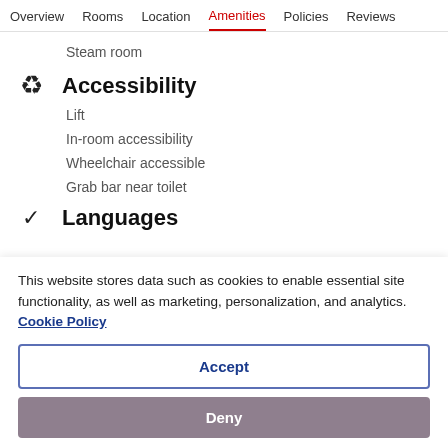Overview  Rooms  Location  Amenities  Policies  Reviews
Steam room
♿ Accessibility
Lift
In-room accessibility
Wheelchair accessible
Grab bar near toilet
✓ Languages
This website stores data such as cookies to enable essential site functionality, as well as marketing, personalization, and analytics. Cookie Policy
Accept
Deny